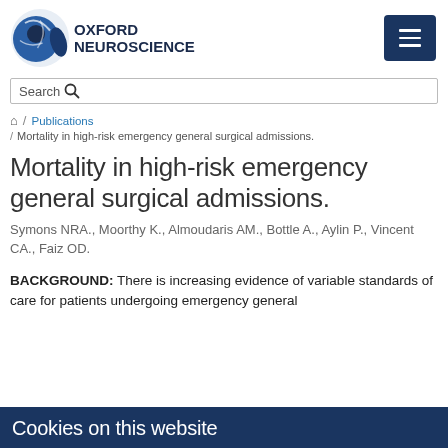[Figure (logo): Oxford Neuroscience logo with circular brain/neuron graphic and text OXFORD NEUROSCIENCE]
Search
/ Publications / Mortality in high-risk emergency general surgical admissions.
Mortality in high-risk emergency general surgical admissions.
Symons NRA., Moorthy K., Almoudaris AM., Bottle A., Aylin P., Vincent CA., Faiz OD.
BACKGROUND: There is increasing evidence of variable standards of care for patients undergoing emergency general
Cookies on this website